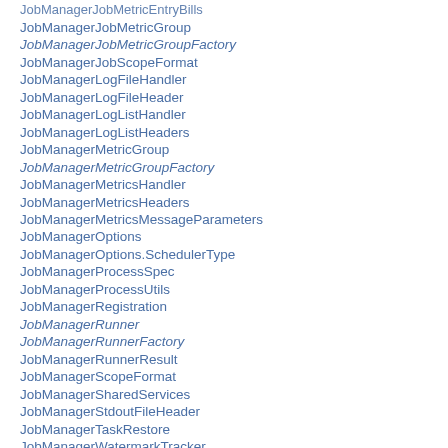JobManagerJobMetricGroup
JobManagerJobMetricGroupFactory
JobManagerJobScopeFormat
JobManagerLogFileHandler
JobManagerLogFileHeader
JobManagerLogListHandler
JobManagerLogListHeaders
JobManagerMetricGroup
JobManagerMetricGroupFactory
JobManagerMetricsHandler
JobManagerMetricsHeaders
JobManagerMetricsMessageParameters
JobManagerOptions
JobManagerOptions.SchedulerType
JobManagerProcessSpec
JobManagerProcessUtils
JobManagerRegistration
JobManagerRunner
JobManagerRunnerFactory
JobManagerRunnerResult
JobManagerScopeFormat
JobManagerSharedServices
JobManagerStdoutFileHeader
JobManagerTaskRestore
JobManagerWatermarkTracker
JobManagerWatermarkTracker.WatermarkResult
JobManagerWatermarkTracker.WatermarkUpdate
JobMaster